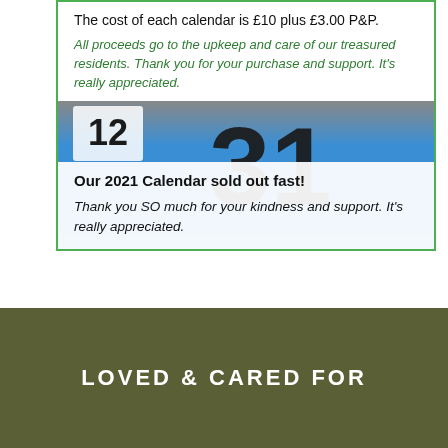The cost of each calendar is £10 plus £3.00 P&P.
All proceeds go to the upkeep and care of our treasured residents. Thank you for your purchase and support. It's really appreciated.
[Figure (photo): Close-up photo of a calendar page showing large numbers including '31', with blue background]
Our 2021 Calendar sold out fast!
Thank you SO much for your kindness and support. It's really appreciated.
LOVED & CARED FOR